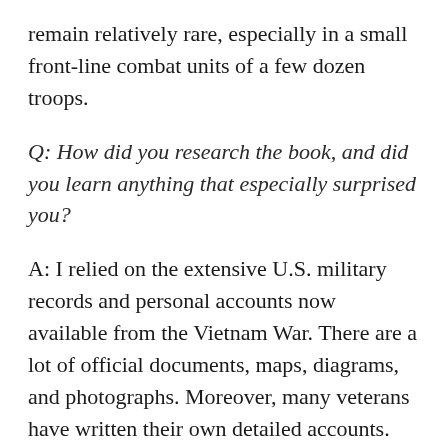remain relatively rare, especially in a small front-line combat units of a few dozen troops.
Q: How did you research the book, and did you learn anything that especially surprised you?
A: I relied on the extensive U.S. military records and personal accounts now available from the Vietnam War. There are a lot of official documents, maps, diagrams, and photographs. Moreover, many veterans have written their own detailed accounts. Setting the military context drew on these fine sources
In telling about what happened at home, I relied on the local news reports and personal recollections of those who lived in Nebraska in